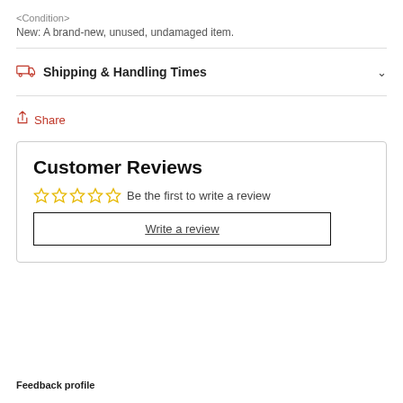<Condition>
New: A brand-new, unused, undamaged item.
Shipping & Handling Times
Share
Customer Reviews
Be the first to write a review
Write a review
Feedback profile